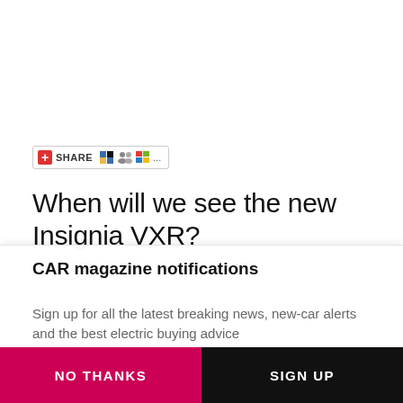[Figure (screenshot): Share button widget with red plus icon, SHARE text, and social media icons (Delicious, friends/people icon, Windows flag icon, and ellipsis)]
When will we see the new Insignia VXR?
CAR magazine notifications
Sign up for all the latest breaking news, new-car alerts and the best electric buying advice
NO THANKS
SIGN UP